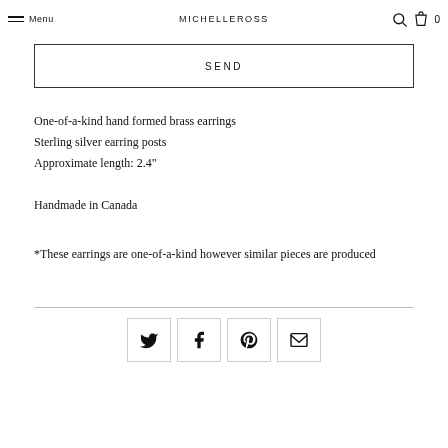Menu | MICHELLEROSS | 0
SEND
One-of-a-kind hand formed brass earrings
Sterling silver earring posts
Approximate length: 2.4"
Handmade in Canada
*These earrings are one-of-a-kind however similar pieces are produced
[Figure (other): Social share icons: Twitter, Facebook, Pinterest, Email in bordered squares]